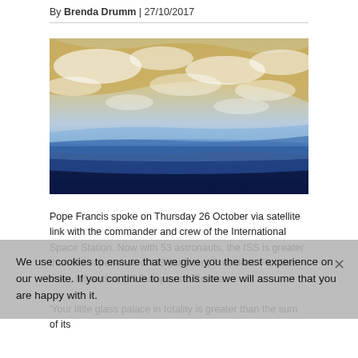By Brenda Drumm | 27/10/2017
[Figure (photo): Photograph taken from space showing Earth's curved horizon with blue atmosphere, clouds over landmass, and dark blue space below.]
Pope Francis spoke on Thursday 26 October via satellite link with the commander and crew of the International Space Station. Now with 53 astronauts, the ISS is greater than the experience of US astronaut President. Families sites, full author US Europe and Russia.
'Your little glass palace in totality is greater than the sum of its
We use cookies to ensure that we give you the best experience on our website. If you continue to use this site we will assume that you are happy with it.